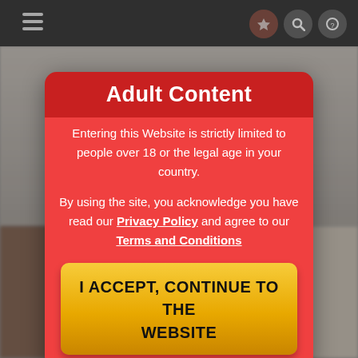[Figure (screenshot): Website navbar with hamburger menu icon on the left and search/icon buttons on the right, dark gray background]
Adult Content
Entering this Website is strictly limited to people over 18 or the legal age in your country.
By using the site, you acknowledge you have read our Privacy Policy and agree to our Terms and Conditions
I ACCEPT, CONTINUE TO THE WEBSITE